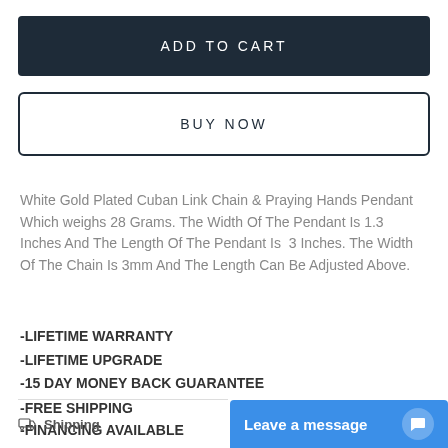ADD TO CART
BUY NOW
White Gold Plated Cuban Link Chain & Praying Hands Pendant Which weighs 28 Grams. The Width Of The Pendant Is 1.3 Inches And The Length Of The Pendant Is 3 Inches. The Width Of The Chain Is 3mm And The Length Can Be Adjusted Above.
-LIFETIME WARRANTY
-LIFETIME UPGRADE
-15 DAY MONEY BACK GUARANTEE
-FREE SHIPPING
-FINANCING AVAILABLE
Shipping
Leave a message